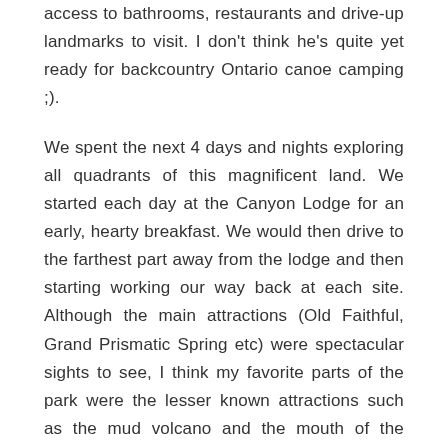access to bathrooms, restaurants and drive-up landmarks to visit. I don't think he's quite yet ready for backcountry Ontario canoe camping ;).
We spent the next 4 days and nights exploring all quadrants of this magnificent land. We started each day at the Canyon Lodge for an early, hearty breakfast. We would then drive to the farthest part away from the lodge and then starting working our way back at each site. Although the main attractions (Old Faithful, Grand Prismatic Spring etc) were spectacular sights to see, I think my favorite parts of the park were the lesser known attractions such as the mud volcano and the mouth of the Yellowstone River as it opened up in to the grand canyon of Yellowstone. These were areas where you could get away from the crowds and listen to the breathing of earth below us.